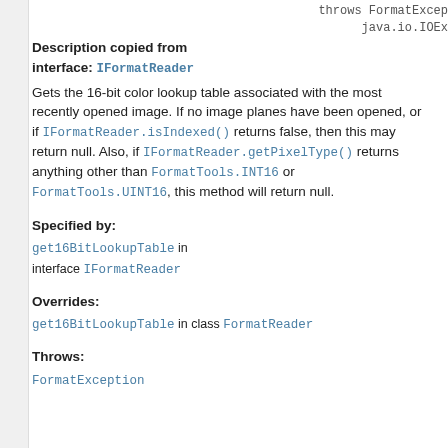throws FormatExce... java.io.IOEx...
Description copied from
interface: IFormatReader
Gets the 16-bit color lookup table associated with the most recently opened image. If no image planes have been opened, or if IFormatReader.isIndexed() returns false, then this may return null. Also, if IFormatReader.getPixelType() returns anything other than FormatTools.INT16 or FormatTools.UINT16, this method will return null.
Specified by:
get16BitLookupTable in interface IFormatReader
Overrides:
get16BitLookupTable in class FormatReader
Throws:
FormatException